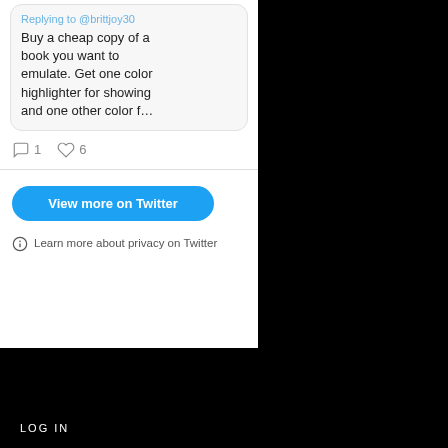Replying to @brittjoy30
Buy a cheap copy of a book you want to emulate. Get one color highlighter for showing and one other color f...
1 reply, 6 likes
View more on Twitter
Learn more about privacy on Twitter
META
LOG IN